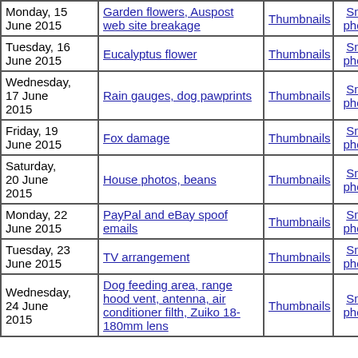| Date | Description | Thumbnails | Small photos | diary |
| --- | --- | --- | --- | --- |
| Monday, 15 June 2015 | Garden flowers, Auspost web site breakage | Thumbnails | Small photos | diary |
| Tuesday, 16 June 2015 | Eucalyptus flower | Thumbnails | Small photos | diary |
| Wednesday, 17 June 2015 | Rain gauges, dog pawprints | Thumbnails | Small photos | diary |
| Friday, 19 June 2015 | Fox damage | Thumbnails | Small photos | diary |
| Saturday, 20 June 2015 | House photos, beans | Thumbnails | Small photos | diary |
| Monday, 22 June 2015 | PayPal and eBay spoof emails | Thumbnails | Small photos | diary |
| Tuesday, 23 June 2015 | TV arrangement | Thumbnails | Small photos | diary |
| Wednesday, 24 June 2015 | Dog feeding area, range hood vent, antenna, air conditioner filth, Zuiko 18-180mm lens | Thumbnails | Small photos | diary |